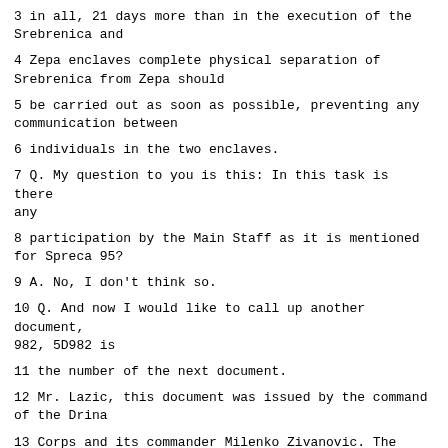3 in all, 21 days more than in the execution of the Srebrenica and
4 Zepa enclaves complete physical separation of Srebrenica from Zepa should
5 be carried out as soon as possible, preventing any communication between
6 individuals in the two enclaves.
7 Q. My question to you is this: In this task is there any
8 participation by the Main Staff as it is mentioned for Spreca 95?
9 A. No, I don't think so.
10 Q. And now I would like to call up another document, 982, 5D982 is
11 the number of the next document.
12 Mr. Lazic, this document was issued by the command of the Drina
13 Corps and its commander Milenko Zivanovic. The title of the document is:
14 "Analysis of a month-long conduct of operation Spreca 95."